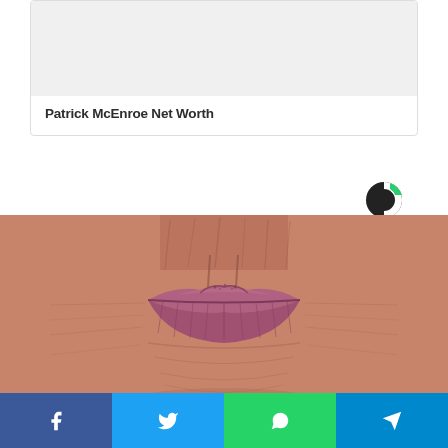[Figure (photo): Placeholder image area (light gray) for Patrick McEnroe article card]
Patrick McEnroe Net Worth
[Figure (logo): Circular logo with green and dark C shape]
[Figure (photo): Close-up photo of elderly person's lips and wrinkled skin around mouth]
[Figure (infographic): Social sharing bar with Facebook, Twitter, WhatsApp, and Telegram buttons]